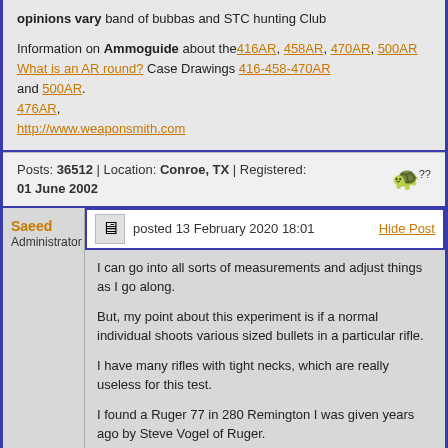opinions vary band of bubbas and STC hunting Club
Information on Ammoguide about the 416AR, 458AR, 470AR, 500AR What is an AR round? Case Drawings 416-458-470AR and 500AR. 476AR, http://www.weaponsmith.com
Posts: 36512 | Location: Conroe, TX | Registered: 01 June 2002
Saeed
Administrator
posted 13 February 2020 18:01
Hide Post
I can go into all sorts of measurements and adjust things as I go along.
But, my point about this experiment is if a normal individual shoots various sized bullets in a particular rifle.
I have many rifles with tight necks, which are really useless for this test.
I found a Ruger 77 in 280 Remington I was given years ago by Steve Vogel of Ruger.
I have not shot this rifle for years, so it might be a good candidate to try the copper bullets in.
We are running the machine making pistol bullets right...